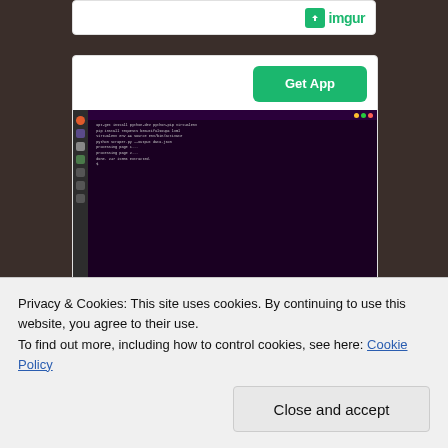[Figure (screenshot): Partial imgur card at top with imgur logo visible]
[Figure (screenshot): Card with Get App button and Ubuntu terminal screenshot showing command line output, with 6K views and imgur branding at bottom]
Privacy & Cookies: This site uses cookies. By continuing to use this website, you agree to their use.
To find out more, including how to control cookies, see here: Cookie Policy
Close and accept